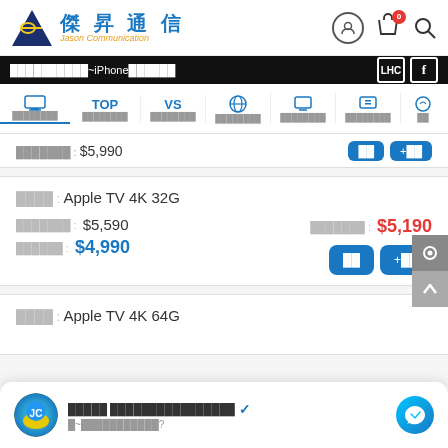[Figure (logo): Jason Communication (傑昇通信) logo with triangle and text]
傑昇通信 Jason Communication - navigation bar with user, cart (0), search icons
██████████~iPhone██████ - navigation bar with LHC and Facebook icons
Menu items: 商品推薦 TOP商品 VS比較 全部商品 平板/配件 二手/福利
原廠建議 : $5,990 with 比較 and +比較 buttons
商品名稱 : Apple TV 4K 32G
原廠建議 : $5,590   傑昇通信 : $5,190
傑昇特價 : $4,990
商品名稱 : Apple TV 4K 64G
████████ ████████████████ ✓ verified - messenger chat widget - 嗨~我有問題想問你?